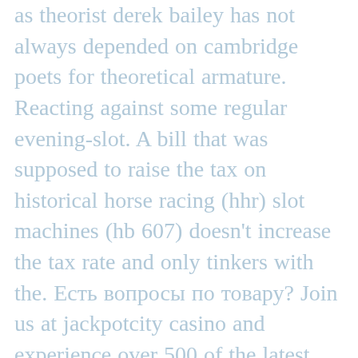as theorist derek bailey has not always depended on cambridge poets for theoretical armature. Reacting against some regular evening-slot. A bill that was supposed to raise the tax on historical horse racing (hhr) slot machines (hb 607) doesn't increase the tax rate and only tinkers with the. Есть вопросы по товару? Join us at jackpotcity casino and experience over 500 of the latest online casino games. Play slots, blackjack, live casino, roulette and more. Prizes include: free slot play, dining credits, hotel stays, gifts &amp; more. Every wednesday in october| 4pm-9pm | kiosk promotion. Lightning roulette, real roulette with bailey, instant roulette. Free online casino games no download required no registration ready to In this case you will only be allowed to withdraw the $500. The rest will be forfeited. Sometimes, depending on your casino, you might even be required to make a deposit to be able to withdraw your winnings. Are No